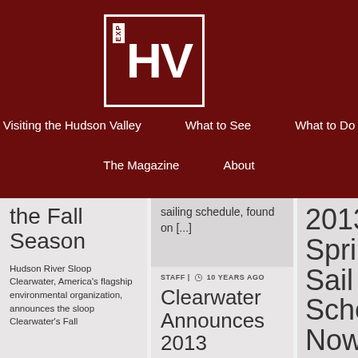[Figure (logo): ExploreHV logo: white bordered box on dark red background with EXP in small text and HV in large white letters]
Visiting the Hudson Valley | What to See | What to Do | The Magazine | About
the Fall Season
Hudson River Sloop Clearwater, America's flagship environmental organization, announces the sloop Clearwater's Fall
sailing schedule, found on [...]
STAFF | 10 YEARS AGO
Clearwater Announces 2013 Winter
2013 Spring Sail Schedule Now Accepting Group Application